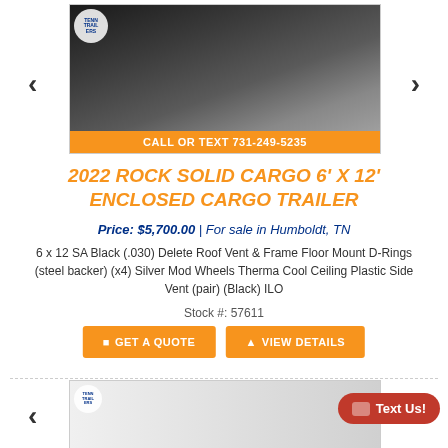[Figure (photo): Photo of a black enclosed cargo trailer with Tenn Trailers logo and orange call-to-action bar reading CALL OR TEXT 731-249-5235]
2022 ROCK SOLID CARGO 6' X 12' ENCLOSED CARGO TRAILER
Price: $5,700.00 | For sale in Humboldt, TN
6 x 12 SA Black (.030) Delete Roof Vent & Frame Floor Mount D-Rings (steel backer) (x4) Silver Mod Wheels Therma Cool Ceiling Plastic Side Vent (pair) (Black) ILO
Stock #: 57611
GET A QUOTE
VIEW DETAILS
[Figure (photo): Partial photo of a white enclosed cargo trailer with Tenn Trailers logo, partially visible at bottom of page]